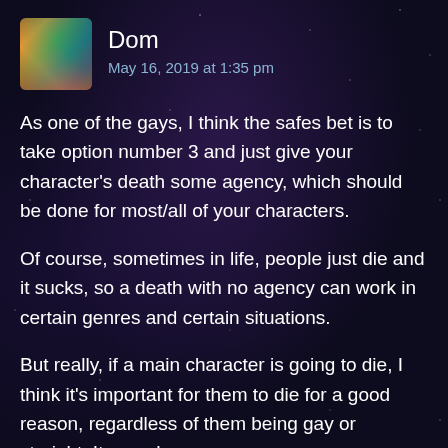[Figure (photo): User avatar image showing a nebula/space themed photo with orange, green, and dark tones]
Dom
May 16, 2019 at 1:35 pm
As one of the gays, I think the safes bet is to take option number 3 and just give your character’s death some agency, which should be done for most/all of your characters.
Of course, sometimes in life, people just die and it sucks, so a death with no agency can work in certain genres and certain situations.
But really, if a main character is going to die, I think it’s important for them to die for a good reason, regardless of them being gay or straight. It sounds